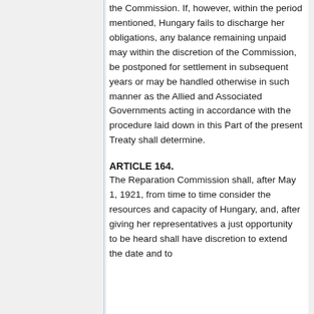the Commission. If, however, within the period mentioned, Hungary fails to discharge her obligations, any balance remaining unpaid may within the discretion of the Commission, be postponed for settlement in subsequent years or may be handled otherwise in such manner as the Allied and Associated Governments acting in accordance with the procedure laid down in this Part of the present Treaty shall determine.
ARTICLE 164.
The Reparation Commission shall, after May 1, 1921, from time to time consider the resources and capacity of Hungary, and, after giving her representatives a just opportunity to be heard shall have discretion to extend the date and to